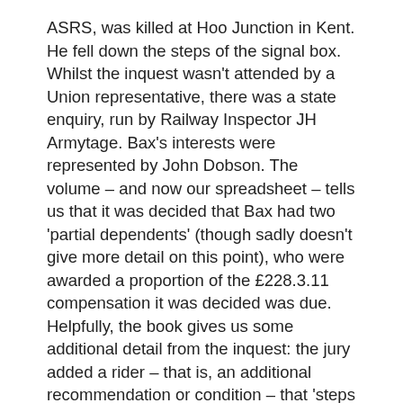ASRS, was killed at Hoo Junction in Kent. He fell down the steps of the signal box. Whilst the inquest wasn't attended by a Union representative, there was a state enquiry, run by Railway Inspector JH Armytage. Bax's interests were represented by John Dobson. The volume – and now our spreadsheet – tells us that it was decided that Bax had two 'partial dependents' (though sadly doesn't give more detail on this point), who were awarded a proportion of the £228.3.11 compensation it was decided was due. Helpfully, the book gives us some additional detail from the inquest: the jury added a rider – that is, an additional recommendation or condition – that 'steps of the [signal] box should be reversed to other end of box or box removed to Down side of line'. Presumably it was felt that the location of the steps had in some way contributed to Bax's accident and that they should therefore be altered.
We're currently cleaning the data, before we release it in a format a bit easier to handle than was used on the day (released on 17/12/19, available here). As we'd expected,